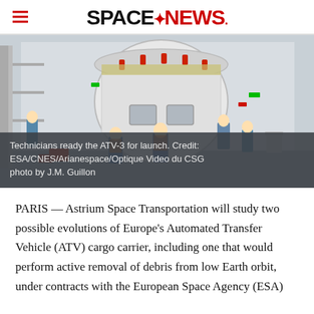SPACENEWS
[Figure (photo): Technicians in blue cleanroom suits working on the ATV-3 spacecraft in a large white cleanroom facility. Several workers visible around a large cylindrical spacecraft module with scaffolding and equipment visible.]
Technicians ready the ATV-3 for launch. Credit: ESA/CNES/Arianespace/Optique Video du CSG photo by J.M. Guillon
PARIS — Astrium Space Transportation will study two possible evolutions of Europe's Automated Transfer Vehicle (ATV) cargo carrier, including one that would perform active removal of debris from low Earth orbit, under contracts with the European Space Agency (ESA)